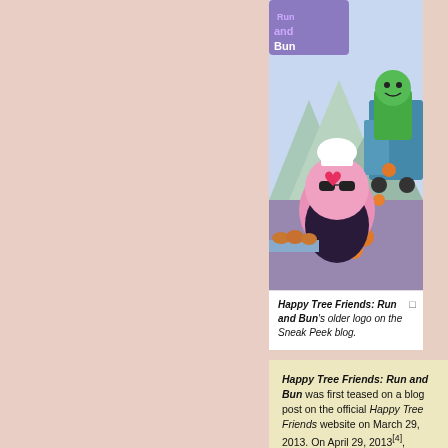[Figure (screenshot): Happy Tree Friends: Run and Bun game screenshot showing a pink round character with sunglasses and chef hat, oranges, mountains, and a green monster character in a truck. The older game logo is visible at top left.]
Happy Tree Friends: Run and Bun's older logo on the Sneak Peek blog.
Happy Tree Friends: Run and Bun was first teased on a blog post on the official Happy Tree Friends website on March 29, 2013. On April 29, 2013[4], "Buns of Steal", an episode that happens to feature Mole, Lifty, and Shifty, was teased with vague explanation despite sharing the word "bun" on the title.
[Figure (screenshot): Bottom portion of a Happy Tree Friends: Run and Bun gameplay screenshot showing score indicators (281 and 80) and a small character on a pink/peach background.]